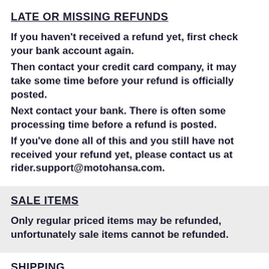LATE OR MISSING REFUNDS
If you haven't received a refund yet, first check your bank account again.
Then contact your credit card company, it may take some time before your refund is officially posted.
Next contact your bank. There is often some processing time before a refund is posted.
If you've done all of this and you still have not received your refund yet, please contact us at rider.support@motohansa.com.
SALE ITEMS
Only regular priced items may be refunded, unfortunately sale items cannot be refunded.
SHIPPING